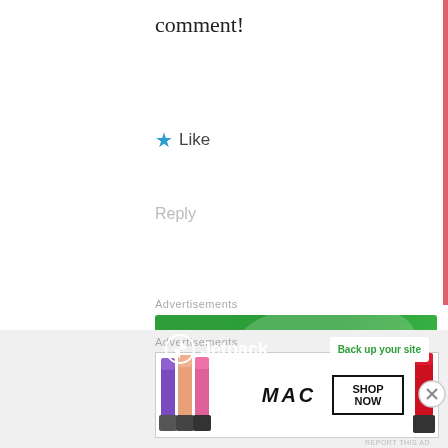comment!
★ Like
Reply
Advertisements
[Figure (screenshot): Jetpack advertisement banner: green background with Jetpack logo and lightning bolt icon on left, 'Back up your site' white button on right]
REPORT THIS AD
[Figure (screenshot): Partial avatar/user icon in blue and orange at bottom left]
Advertisements
[Figure (screenshot): MAC cosmetics advertisement banner showing colorful lipsticks on left, MAC logo in center, and SHOP NOW button in black border on right, with red lipstick on far right]
REPORT THIS AD